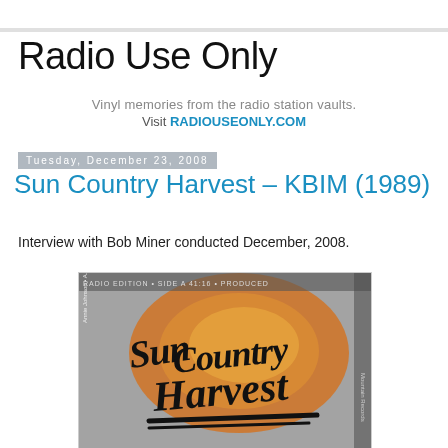Radio Use Only
Vinyl memories from the radio station vaults.
Visit RADIOUSEONLY.COM
Tuesday, December 23, 2008
Sun Country Harvest – KBIM (1989)
Interview with Bob Miner conducted December, 2008.
[Figure (photo): Album cover for Sun Country Harvest showing stylized brush-script text 'Sun Country Harvest' in black over an orange and grey textured background]